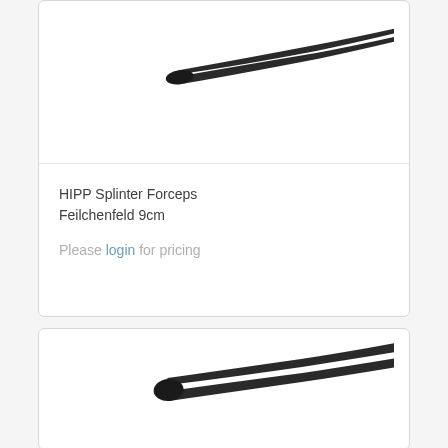[Figure (photo): HIPP Splinter Forceps Feilchenfeld 9cm - photo of black/dark colored fine-tipped forceps/tweezers, shown at an angle, top portion of product card]
HIPP Splinter Forceps Feilchenfeld 9cm
Please login for pricing
[Figure (photo): Second surgical forceps/splinter forceps product - black/dark colored with wider tips, shown at an angle, bottom product card]